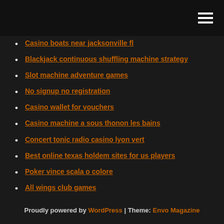[hamburger menu icon]
Casino boats near jacksonville fl
Blackjack continuous shuffling machine strategy
Slot machine adventure games
No signup no registration
Casino wallet for vouchers
Casino machine a sous thonon les bains
Concert tonic radio casino lyon vert
Best online texas holdem sites for us players
Poker vince scala o colore
All wings club games
Is it possible to make a living off gambling
Proudly powered by WordPress | Theme: Envo Magazine